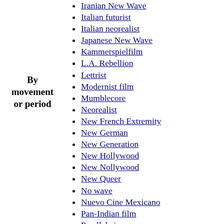By movement or period
Iranian New Wave
Italian futurist
Italian neorealist
Japanese New Wave
Kammerspielfilm
L.A. Rebellion
Lettrist
Modernist film
Mumblecore
Neorealist
New French Extremity
New German
New Generation
New Hollywood
New Nollywood
New Queer
No wave
Nuevo Cine Mexicano
Pan-Indian film
Parallel cinema
Persian Film
Poetic realist
Polish Film School
Poliziotteschi
Praška filmska škola